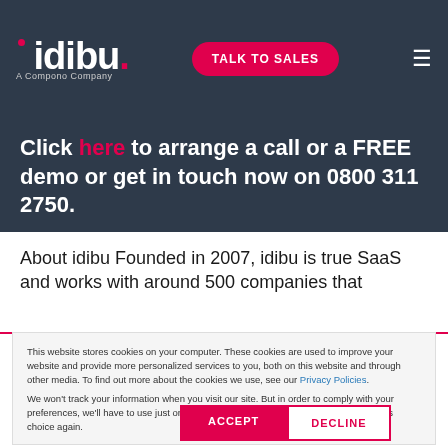idibu. A Compono Company | TALK TO SALES
Click here to arrange a call or a FREE demo or get in touch now on 0800 311 2750.
About idibu Founded in 2007, idibu is true SaaS and works with around 500 companies that
This website stores cookies on your computer. These cookies are used to improve your website and provide more personalized services to you, both on this website and through other media. To find out more about the cookies we use, see our Privacy Policies.
We won't track your information when you visit our site. But in order to comply with your preferences, we'll have to use just one tiny cookie so that you're not asked to make this choice again.